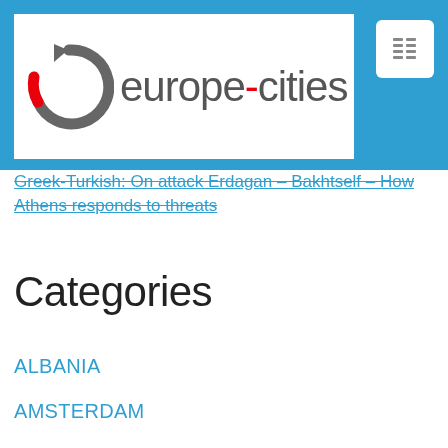[Figure (logo): europe-cities logo with circular arrow icon in gray and red]
Greek-Turkish: On attack Erdagan – Bakhtself – How Athens responds to threats
Categories
ALBANIA
AMSTERDAM
ANDORRA
ANNECY
ANTWERP